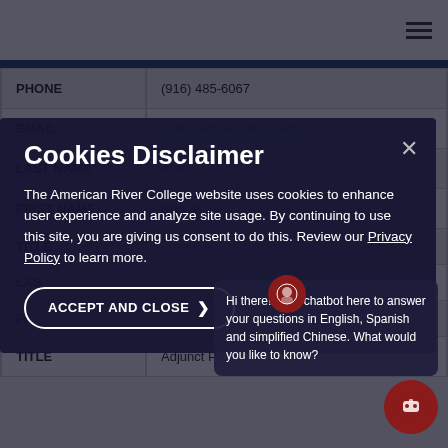| Field | Value |
| --- | --- |
| PHONE | (916) 485-6067 |
| EMAIL | anlassa@arc.losrios.edu |
| LAST NAME | Arata |
| FIRST NAME | Raquel |
| TITLE | ...orce |
| LAS |  |
| FI |  |
| TITLE | Adjunct Professor |
Cookies Disclaimer
The American River College website uses cookies to enhance user experience and analyze site usage. By continuing to use this site, you are giving us consent to do this. Review our Privacy Policy to learn more.
ACCEPT AND CLOSE
Hi there! I'm a chatbot here to answer your questions in English, Spanish and simplified Chinese. What would you like to know?